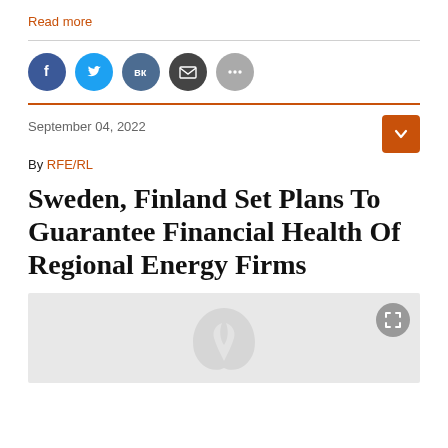Read more
[Figure (other): Social sharing icons: Facebook, Twitter, VK, Email, More]
September 04, 2022
By RFE/RL
Sweden, Finland Set Plans To Guarantee Financial Health Of Regional Energy Firms
[Figure (photo): Article header image with a watermark leaf/plant logo on grey background, with a fullscreen expand button]